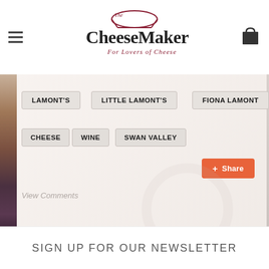The Cheese Maker - For Lovers of Cheese
LAMONT'S
LITTLE LAMONT'S
FIONA LAMONT
CHEESE
WINE
SWAN VALLEY
Share
View Comments
SIGN UP FOR OUR NEWSLETTER